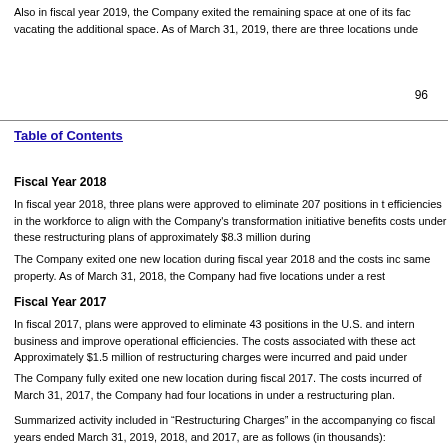Also in fiscal year 2019, the Company exited the remaining space at one of its facilities, vacating the additional space. As of March 31, 2019, there are three locations under a restructuring plan.
96
Table of Contents
Fiscal Year 2018
In fiscal year 2018, three plans were approved to eliminate 207 positions in the U.S. and internationally to create efficiencies in the workforce to align with the Company's transformation initiatives. The Company incurred severance and benefits costs under these restructuring plans of approximately $8.3 million during fiscal year 2018.
The Company exited one new location during fiscal year 2018 and the costs incurred were related to the same property. As of March 31, 2018, the Company had five locations under a restructuring plan.
Fiscal Year 2017
In fiscal 2017, plans were approved to eliminate 43 positions in the U.S. and internationally to streamline the business and improve operational efficiencies. The costs associated with these actions were approximately $2.2 million. Approximately $1.5 million of restructuring charges were incurred and paid under these plans.
The Company fully exited one new location during fiscal 2017. The costs incurred were related to this location. As of March 31, 2017, the Company had four locations in under a restructuring plan.
Summarized activity included in "Restructuring Charges" in the accompanying consolidated statements of operations for fiscal years ended March 31, 2019, 2018, and 2017, are as follows (in thousands):